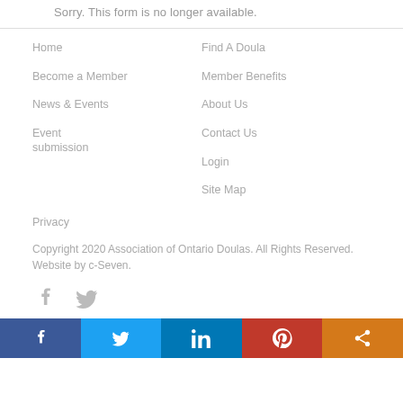Sorry. This form is no longer available.
Home
Find A Doula
Become a Member
Member Benefits
News & Events
About Us
Event submission
Contact Us
Login
Site Map
Privacy
Copyright 2020 Association of Ontario Doulas. All Rights Reserved. Website by c-Seven.
[Figure (infographic): Social media icons: Facebook and Twitter in gray]
[Figure (infographic): Share bar with Facebook, Twitter, LinkedIn, Pinterest, and share icons in colored backgrounds]